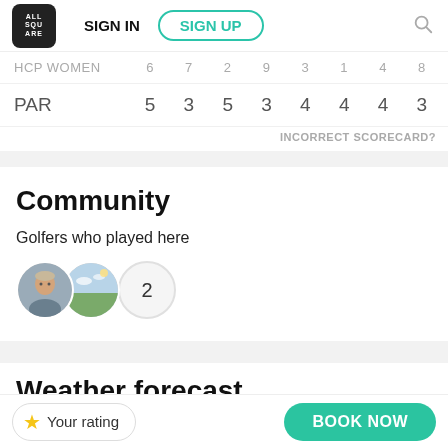ALL SQUARE | SIGN IN | SIGN UP
|  | col1 | col2 | col3 | col4 | col5 | col6 | col7 | col8 |
| --- | --- | --- | --- | --- | --- | --- | --- | --- |
| HCP WOMEN | 6 | 7 | 2 | 9 | 3 | 1 | 4 | 8 |
| PAR | 5 | 3 | 5 | 3 | 4 | 4 | 4 | 3 |
INCORRECT SCORECARD?
Community
Golfers who played here
[Figure (illustration): Two overlapping circular avatar photos of golfers, followed by a circle with the number 2]
Weather forecast
Your rating
BOOK NOW